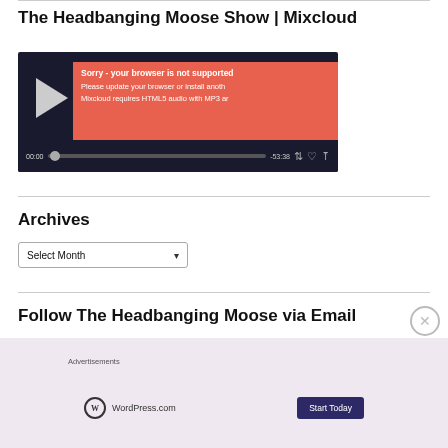The Headbanging Moose Show | Mixcloud
[Figure (screenshot): Mixcloud audio player widget with dark background showing play button, error overlay in red/coral color saying 'Sorry - your browser is not supported', 'Please update your browser or install anoth...', 'Mixcloud requires HTML5 audio with MP3 ar...', and player controls showing 00:00 and -53:38]
Archives
Select Month
Follow The Headbanging Moose via Email
[Figure (screenshot): Advertisement overlay showing WordPress.com logo and 'Start Today' button on light purple/pink background, with 'Advertisements' label above]
[Figure (other): Close/dismiss button (circled X) for the advertisement overlay]